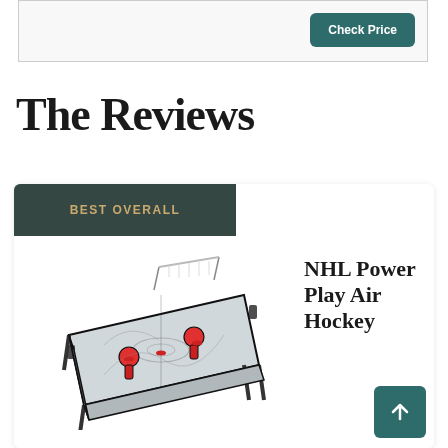[Figure (other): Top bordered box with a 'Check Price' teal button on the right]
The Reviews
BEST OVERALL
[Figure (photo): NHL PowerPlay Air Hockey table product image showing an air hockey table with table tennis top conversion, red paddles and pucks]
NHL Power Play Air Hockey